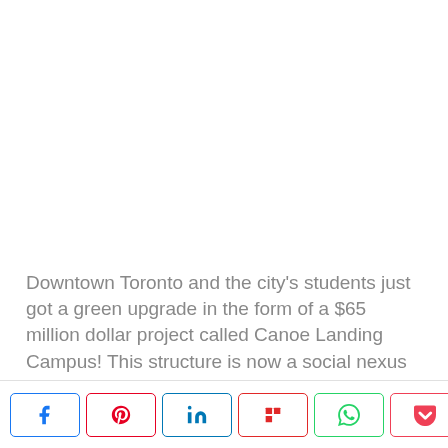Downtown Toronto and the city's students just got a green upgrade in the form of a $65 million dollar project called Canoe Landing Campus! This structure is now a social nexus that acts as a community recreation center as well as an educational institute divided into public and Catholic